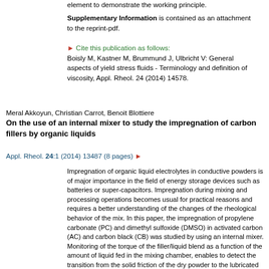element to demonstrate the working principle.
Supplementary Information is contained as an attachment to the reprint-pdf.
► Cite this publication as follows:
Boisly M, Kastner M, Brummund J, Ulbricht V: General aspects of yield stress fluids - Terminology and definition of viscosity, Appl. Rheol. 24 (2014) 14578.
Meral Akkoyun, Christian Carrot, Benoit Blottiere
On the use of an internal mixer to study the impregnation of carbon fillers by organic liquids
Appl. Rheol. 24:1 (2014) 13487 (8 pages) ►
Impregnation of organic liquid electrolytes in conductive powders is of major importance in the field of energy storage devices such as batteries or super-capacitors. Impregnation during mixing and processing operations becomes usual for practical reasons and requires a better understanding of the changes of the rheological behavior of the mix. In this paper, the impregnation of propylene carbonate (PC) and dimethyl sulfoxide (DMSO) in activated carbon (AC) and carbon black (CB) was studied by using an internal mixer. Monitoring of the torque of the filler/liquid blend as a function of the amount of liquid fed in the mixing chamber, enables to detect the transition from the solid friction of the dry powder to the lubricated liquid (or viscous) behaviour of the concentrated paste of wetted powder. The results were compared with data obtained by conventional nitrogen adsorption porosimetry combined with the knowledge of the molecular diameter of the liquids. A characteristic change was observed as soon as the liquid completely fills the porosity of the filler. Both tested liquids (DMSO and PC)...